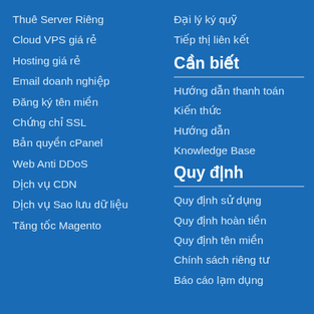Thuê Server Riêng
Cloud VPS giá rẻ
Hosting giá rẻ
Email doanh nghiệp
Đăng ký tên miền
Chứng chỉ SSL
Bản quyền cPanel
Web Anti DDoS
Dịch vụ CDN
Dịch vụ Sao lưu dữ liệu
Tăng tốc Magento
Đại lý ký quỹ
Tiếp thị liên kết
Cần biết
Hướng dẫn thanh toán
Kiến thức
Hướng dẫn
Knowledge Base
Quy định
Quy định sử dụng
Quy định hoàn tiền
Quy định tên miền
Chính sách riêng tư
Báo cáo lạm dụng